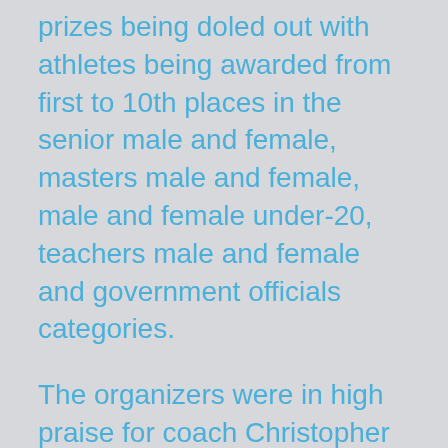prizes being doled out with athletes being awarded from first to 10th places in the senior male and female, masters male and female, male and female under-20, teachers male and female and government officials categories.
The organizers were in high praise for coach Christopher Gaskin along with the staff from KMPA foundation, Lorraine Adams, Junior Cornette, Shaquille Adonis and the rest of guys who worked late every night to get the ground in shape. The Foundation would like to thank the staff at Lenora Ground and also the Lusignan community centre ground for the role they played in this event not forgetting Rhonda Munize, Nicholas Fraser, Christopher Jones and all the